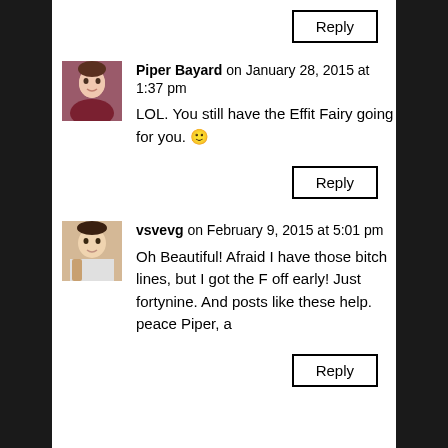[Figure (other): Reply button at top right]
[Figure (photo): Avatar of Piper Bayard]
Piper Bayard on January 28, 2015 at 1:37 pm
LOL. You still have the Effit Fairy going for you. 🙂
[Figure (other): Reply button below Piper Bayard comment]
[Figure (photo): Avatar of vsvevg]
vsvevg on February 9, 2015 at 5:01 pm
Oh Beautiful! Afraid I have those bitch lines, but I got the F off early! Just fortynine. And posts like these help. peace Piper, a
[Figure (other): Reply button below vsvevg comment]